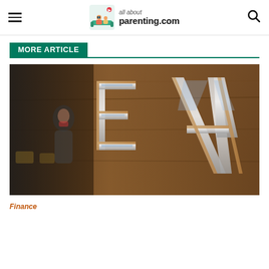all about parenting.com
MORE ARTICLE
[Figure (photo): Close-up photo of wooden 'EA' letters mounted on a brown wooden wall, with a blurred person in the background]
Finance